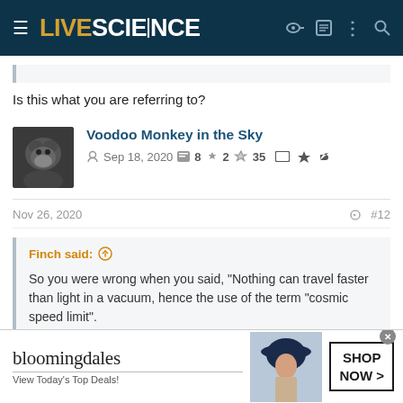LIVE SCIENCE
Is this what you are referring to?
Voodoo Monkey in the Sky
Sep 18, 2020  8  2  35
Nov 26, 2020  #12
Finch said: ↑
So you were wrong when you said, "Nothing can travel faster than light in a vacuum, hence the use of the term "cosmic speed limit".
[Figure (screenshot): Bloomingdale's advertisement banner: woman in navy hat, 'View Today's Top Deals! SHOP NOW >']